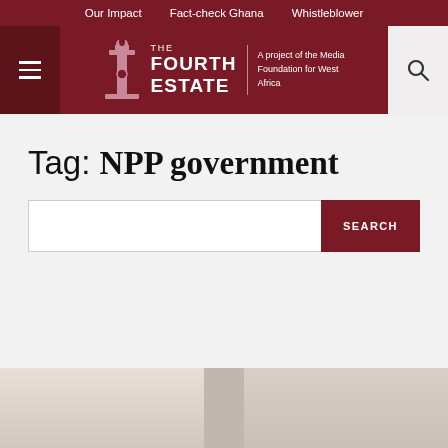Our Impact | Fact-check Ghana | Whistleblower
[Figure (logo): The Fourth Estate logo with column icon, tagline 'A project of the Media Foundation for West Africa', on dark red background with hamburger menu and search icon]
Tag: NPP government
SEARCH (search input and button)
[Figure (photo): Partial image strip at bottom of page, appears to show a person or scene, cropped]